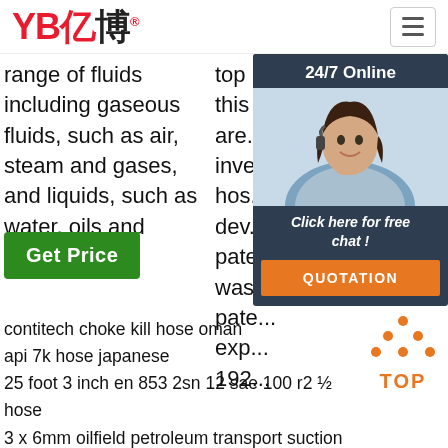[Figure (logo): YB亿博 company logo in red with registered trademark symbol]
[Figure (other): Hamburger menu icon in top right corner]
range of fluids including gaseous fluids, such as air, steam and gases, and liquids, such as water, oils and
top name in this area invested hose developed patented was patented experience 192
Get Price
[Figure (photo): 24/7 Online chat widget with photo of woman wearing headset, Click here for free chat! and QUOTATION button]
G
[Figure (other): TOP icon with orange dots arranged in upward triangle pattern]
contitech choke kill hose oman
api 7k hose japanese
25 foot 3 inch en 853 2sn 12 sae 100 r2 ½ hose
3 x 6mm oilfield petroleum transport suction hose